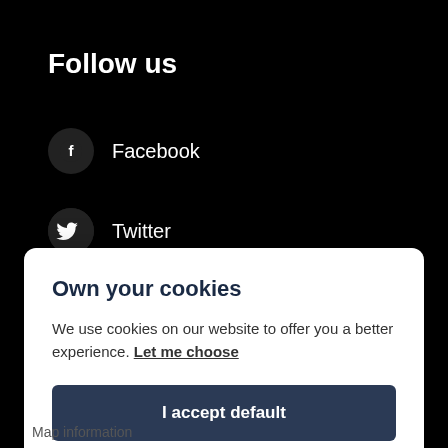Follow us
Facebook
Twitter
Instagram
Own your cookies
We use cookies on our website to offer you a better experience. Let me choose
I accept default
Only necessary
Map information